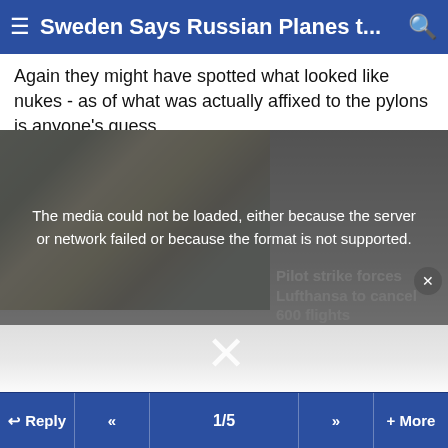Sweden Says Russian Planes t...
Again they might have spotted what looked like nukes - as of what was actually affixed to the pylons is anyone's guess.
[Figure (screenshot): Video player showing an error state. Left side shows a blurred photo of people in what appears to be a transit area. A dark overlay covers the player with the message: 'The media could not be loaded, either because the server or network failed or because the format is not supported.' A large X dismiss button is shown below. On the right side background, text reads 'Pilot strike forces Lufthansa to cancel 600 flights'. A small circular close button (×) is in the upper right.]
Reply  «  1/5  »  + More